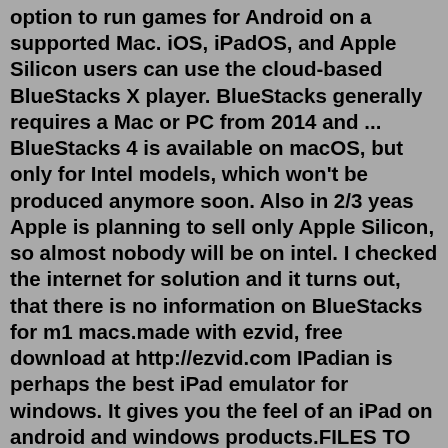option to run games for Android on a supported Mac. iOS, iPadOS, and Apple Silicon users can use the cloud-based BlueStacks X player. BlueStacks generally requires a Mac or PC from 2014 and ... BlueStacks 4 is available on macOS, but only for Intel models, which won't be produced anymore soon. Also in 2/3 yeas Apple is planning to sell only Apple Silicon, so almost nobody will be on intel. I checked the internet for solution and it turns out, that there is no information on BlueStacks for m1 macs.made with ezvid, free download at http://ezvid.com IPadian is perhaps the best iPad emulator for windows. It gives you the feel of an iPad on android and windows products.FILES TO DOWNLOAD - Thank you ... Oct 05, 2021 · 1. Download the .APK file for an app from any third-party site and launch BlueStacks on your Mac. 2. Now, open the Media Manager from the My Apps tab. 3. Here, click on Import from Mac. 4. A Mac Finder window will appear. Here, navigate to the .APK file for the app you want to install on BlueStacks. BlueStacks is a free Android emulator...